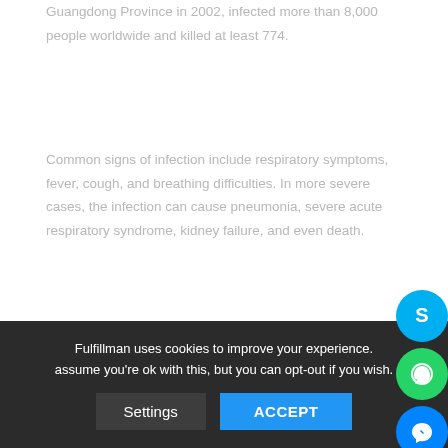Guangdong Province in 2002, infected more than 8,000 people worldwide and killed at least 774.
Common signs of infection include respiratory symptoms, fever, cough, and breathing difficulties. In more severe cases, the infection can cause pneumonia, severe acute respiratory syndrome, kidney failure, and even death.
How Bad is Wuhan Coronavirus?
Several reports from the National Health Commission of China's districts' Health Commission in the last few days have shown ... of pneumonia reported cases, with 2005 confirmed cases, s...
Fulfillman uses cookies to improve your experience. assume you're ok with this, but you can opt-out if you wish.